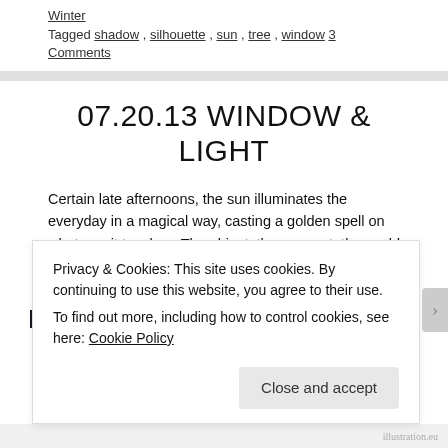Winter
Tagged shadow, silhouette, sun, tree, window 3 Comments
07.20.13 WINDOW & LIGHT
Certain late afternoons, the sun illuminates the everyday in a magical way, casting a golden spell on whatever it touches. The object, the moment, the world is made poignant, precious because the light is fleeting and so achingly lovely, I hardly want to blink.
Privacy & Cookies: This site uses cookies. By continuing to use this website, you agree to their use.
To find out more, including how to control cookies, see here: Cookie Policy